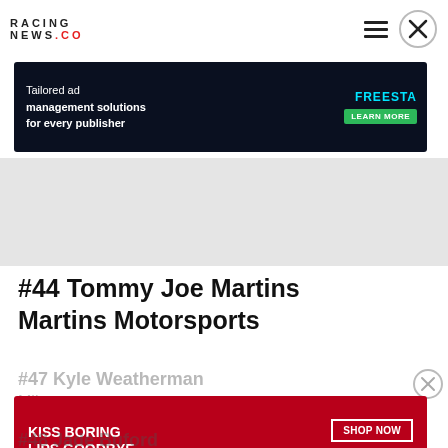RACING NEWS.CO
[Figure (screenshot): Advertisement banner: Tailored ad management solutions for every publisher — FREESTA, LEARN MORE]
[Figure (screenshot): Gray empty area below top ad]
#44 Tommy Joe Martins Martins Motorsports
#47 Kyle Weatherman Mike ...
[Figure (screenshot): Advertisement banner: KISS BORING LIPS GOODBYE — SHOP NOW — macys]
#48 Jade Buford